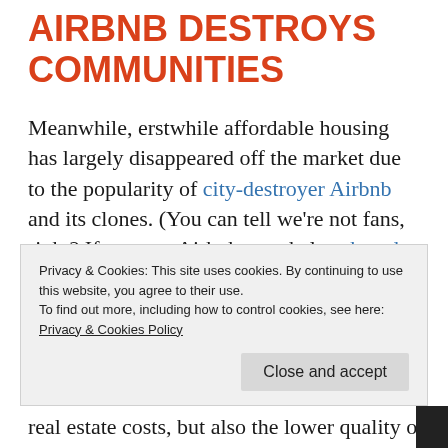AIRBNB DESTROYS COMMUNITIES
Meanwhile, erstwhile affordable housing has largely disappeared off the market due to the popularity of city-destroyer Airbnb and its clones. (You can tell we're not fans, right? If you use Airbnb, you help rob and destroy communities and cities, including Amsterdam.)
This has priced many families and singles out
Privacy & Cookies: This site uses cookies. By continuing to use this website, you agree to their use.
To find out more, including how to control cookies, see here: Privacy & Cookies Policy
real estate costs, but also the lower quality of